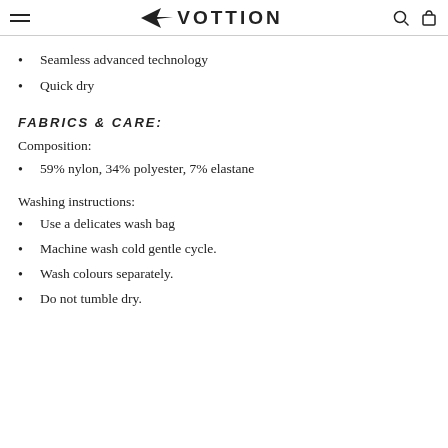VOTTION
Seamless advanced technology
Quick dry
FABRICS & CARE:
Composition:
59% nylon, 34% polyester, 7% elastane
Washing instructions:
Use a delicates wash bag
Machine wash cold gentle cycle.
Wash colours separately.
Do not tumble dry.